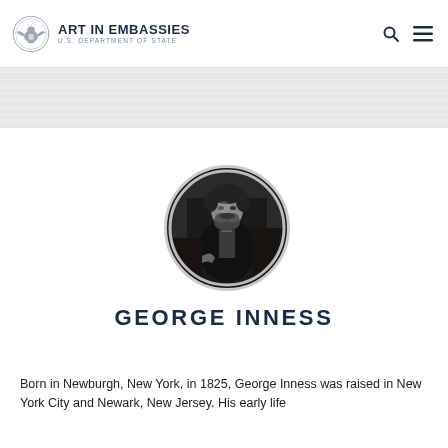ART IN EMBASSIES — U.S. DEPARTMENT OF STATE
[Figure (photo): Circular black-and-white portrait photograph of George Inness, a bearded man seated, wearing a dark suit, with a piano or similar furniture behind him.]
GEORGE INNESS
Born in Newburgh, New York, in 1825, George Inness was raised in New York City and Newark, New Jersey. His early life